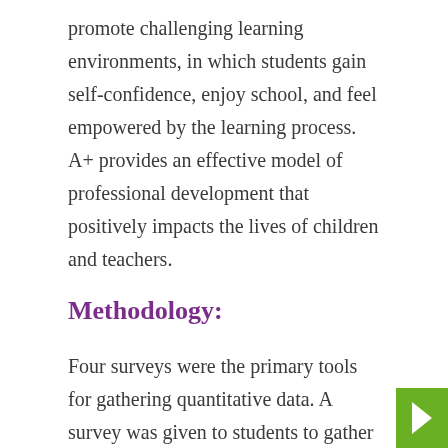promote challenging learning environments, in which students gain self-confidence, enjoy school, and feel empowered by the learning process. A+ provides an effective model of professional development that positively impacts the lives of children and teachers.
Methodology:
Four surveys were the primary tools for gathering quantitative data. A survey was given to students to gather their attitudes on and perceptions of classroom activities yielding 6,042 responses. In addition, a survey of teachers yielded 1,728 responses. Faculty fellows who had been providing professional development and guidance throughout the process were also surveyed and 96 responded. An Arts Education Perception Survey was filled out by